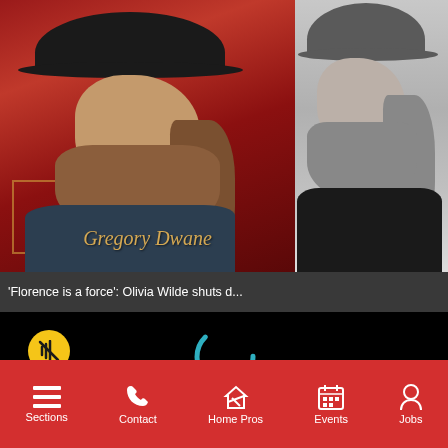[Figure (photo): Album art cover showing man with long beard and wide-brim black hat in profile view on red background, with 'Gregory Dwane' text in gold script]
[Figure (photo): Black and white photo of bearded man with long hair wearing a wide-brim hat and black t-shirt]
'Florence is a force': Olivia Wilde shuts d...
[Figure (screenshot): Video player with black background showing loading spinner and mute button]
newsletter to get insights ams
Sections  Contact  Home Pros  Events  Jobs